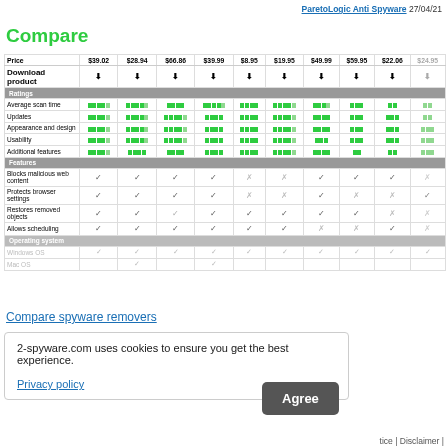ParetoLogic Anti Spyware 27/04/21
Compare
|  | $39.02 | $28.94 | $66.86 | $39.99 | $8.95 | $19.95 | $49.99 | $59.95 | $22.06 | $24.95 |
| --- | --- | --- | --- | --- | --- | --- | --- | --- | --- | --- |
| Download product | ⬇ | ⬇ | ⬇ | ⬇ | ⬇ | ⬇ | ⬇ | ⬇ | ⬇ | ⬇ |
| Ratings |  |  |  |  |  |  |  |  |  |  |
| Average scan time | ████ | ████ | ████ | ████ | ████ | ████ | ████ | ███ | ██ | ██ |
| Updates | ████ | ████ | ████ | ████ | ████ | ████ | ████ | ███ | ███ | ██ |
| Appearance and design | ████ | ████ | ████ | ████ | ████ | ████ | ████ | ███ | ███ | ████ |
| Usability | ████ | ████ | ████ | ████ | ████ | ████ | ███ | ███ | ███ | ███ |
| Additional features | ████ | ████ | ████ | ████ | ████ | ████ | ████ | ███ | ██ | ████ |
| Features |  |  |  |  |  |  |  |  |  |  |
| Blocks malicious web content | ✓ | ✓ | ✓ | ✓ | ✗ | ✗ | ✓ | ✓ | ✓ | ✗ |
| Protects browser settings | ✓ | ✓ | ✓ | ✓ | ✗ | ✗ | ✓ | ✗ | ✗ | ✓ |
| Restores removed objects | ✓ | ✓ | ✓ | ✓ | ✓ | ✓ | ✓ | ✓ | ✗ | ✗ |
| Allows scheduling | ✓ | ✓ | ✓ | ✓ | ✓ | ✓ | ✗ | ✗ | ✓ | ✗ |
| Operating system |  |  |  |  |  |  |  |  |  |  |
| Windows OS | ✓ | ✓ | ✓ | ✓ | ✓ | ✓ | ✓ | ✓ | ✓ | ✓ |
| Mac OS |  | ✓ |  | ✓ |  |  |  |  |  |  |
Compare spyware removers
2-spyware.com uses cookies to ensure you get the best experience.
Privacy policy
Agree
tice | Disclaimer |